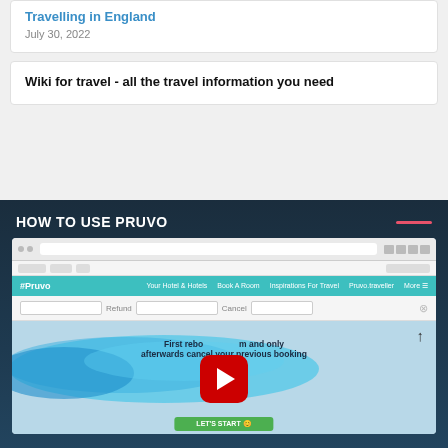Travelling in England
July 30, 2022
Wiki for travel - all the travel information you need
HOW TO USE PRUVO
[Figure (screenshot): Screenshot of Pruvo website with a video player overlay showing 'First rebook and only afterwards cancel your previous booking' text on a blue splash background with a YouTube play button.]